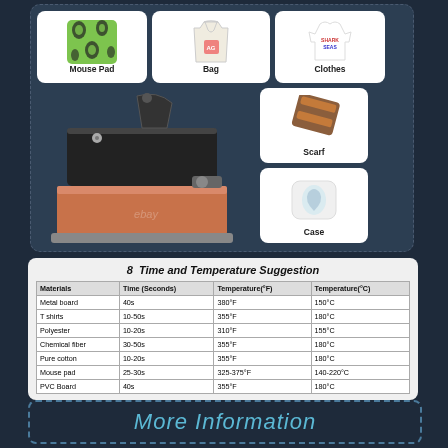[Figure (infographic): Product application collage showing Mouse Pad (green patterned), Bag (canvas tote), Clothes (white t-shirt), a heat press machine in center, Scarf, and Case (pillow)]
8  Time and Temperature Suggestion
| Materials | Time (Seconds) | Temperature(°F) | Temperature(°C) |
| --- | --- | --- | --- |
| Metal board | 40s | 380°F | 150°C |
| T shirts | 10-50s | 355°F | 180°C |
| Polyester | 10-20s | 310°F | 155°C |
| Chemical fiber | 30-50s | 355°F | 180°C |
| Pure cotton | 10-20s | 355°F | 180°C |
| Mouse pad | 25-30s | 325-375°F | 140-220°C |
| PVC Board | 40s | 355°F | 180°C |
More Information